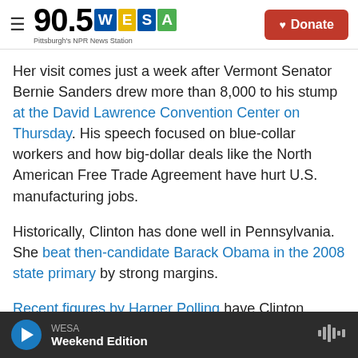90.5 WESA Pittsburgh's NPR News Station | Donate
Her visit comes just a week after Vermont Senator Bernie Sanders drew more than 8,000 to his stump at the David Lawrence Convention Center on Thursday. His speech focused on blue-collar workers and how big-dollar deals like the North American Free Trade Agreement have hurt U.S. manufacturing jobs.
Historically, Clinton has done well in Pennsylvania. She beat then-candidate Barack Obama in the 2008 state primary by strong margins.
Recent figures by Harper Polling have Clinton
WESA Weekend Edition